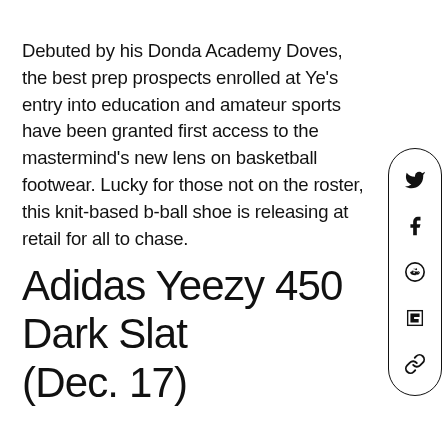Debuted by his Donda Academy Doves, the best prep prospects enrolled at Ye's entry into education and amateur sports have been granted first access to the mastermind's new lens on basketball footwear. Lucky for those not on the roster, this knit-based b-ball shoe is releasing at retail for all to chase.
Adidas Yeezy 450 Dark Slat (Dec. 17)